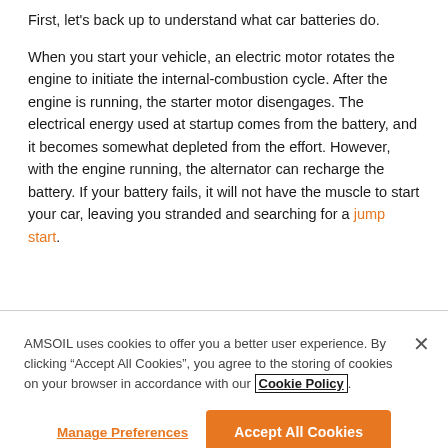First, let's back up to understand what car batteries do.
When you start your vehicle, an electric motor rotates the engine to initiate the internal-combustion cycle. After the engine is running, the starter motor disengages. The electrical energy used at startup comes from the battery, and it becomes somewhat depleted from the effort. However, with the engine running, the alternator can recharge the battery. If your battery fails, it will not have the muscle to start your car, leaving you stranded and searching for a jump start.
AMSOIL uses cookies to offer you a better user experience. By clicking "Accept All Cookies", you agree to the storing of cookies on your browser in accordance with our Cookie Policy.